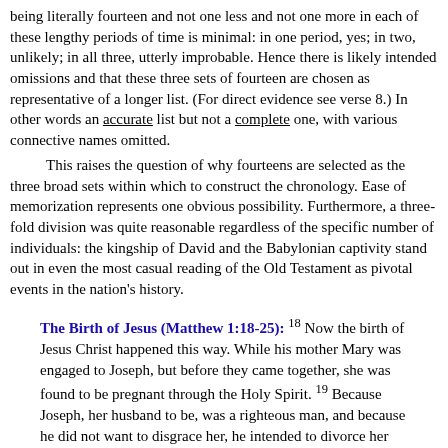being literally fourteen and not one less and not one more in each of these lengthy periods of time is minimal: in one period, yes; in two, unlikely; in all three, utterly improbable. Hence there is likely intended omissions and that these three sets of fourteen are chosen as representative of a longer list. (For direct evidence see verse 8.) In other words an accurate list but not a complete one, with various connective names omitted.
This raises the question of why fourteens are selected as the three broad sets within which to construct the chronology. Ease of memorization represents one obvious possibility. Furthermore, a three-fold division was quite reasonable regardless of the specific number of individuals: the kingship of David and the Babylonian captivity stand out in even the most casual reading of the Old Testament as pivotal events in the nation's history.
The Birth of Jesus (Matthew 1:18-25):
18 Now the birth of Jesus Christ happened this way. While his mother Mary was engaged to Joseph, but before they came together, she was found to be pregnant through the Holy Spirit. 19 Because Joseph, her husband to be, was a righteous man, and because he did not want to disgrace her, he intended to divorce her privately.